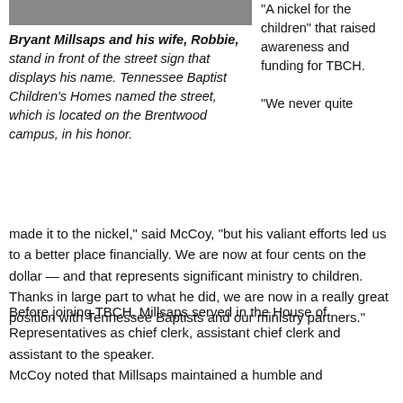[Figure (photo): Top portion of a photo showing Bryant Millsaps and his wife standing in front of a street sign]
Bryant Millsaps and his wife, Robbie, stand in front of the street sign that displays his name. Tennessee Baptist Children's Homes named the street, which is located on the Brentwood campus, in his honor.
“A nickel for the children” that raised awareness and funding for TBCH.
“We never quite made it to the nickel,” said McCoy, “but his valiant efforts led us to a better place financially. We are now at four cents on the dollar — and that represents significant ministry to children. Thanks in large part to what he did, we are now in a really great position with Tennessee Baptists and our ministry partners.”
Before joining TBCH, Millsaps served in the House of Representatives as chief clerk, assistant chief clerk and assistant to the speaker.
McCoy noted that Millsaps maintained a humble and